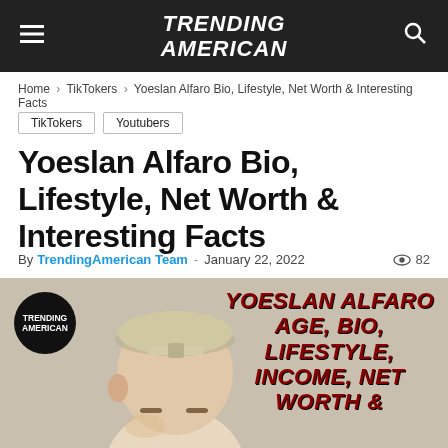TRENDING AMERICAN
Home › TikTokers › Yoeslan Alfaro Bio, Lifestyle, Net Worth & Interesting Facts
TikTokers
Youtubers
Yoeslan Alfaro Bio, Lifestyle, Net Worth & Interesting Facts
By TrendingAmerican Team - January 22, 2022   82
[Figure (photo): Promotional image of Yoeslan Alfaro wearing a backwards baseball cap, with overlaid text reading YOESLAN ALFARO AGE, BIO, LIFESTYLE, INCOME, NET WORTH & ... and Trending American logo circle in top left corner]